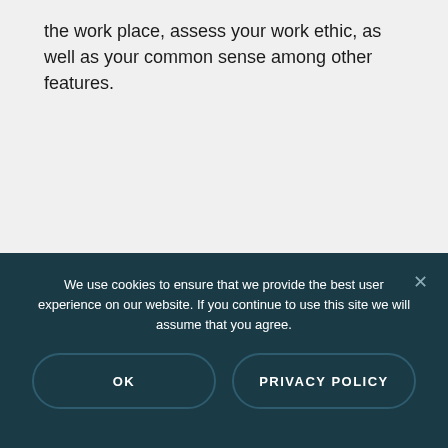the work place, assess your work ethic, as well as your common sense among other features.
We use cookies to ensure that we provide the best user experience on our website. If you continue to use this site we will assume that you agree.
OK
PRIVACY POLICY